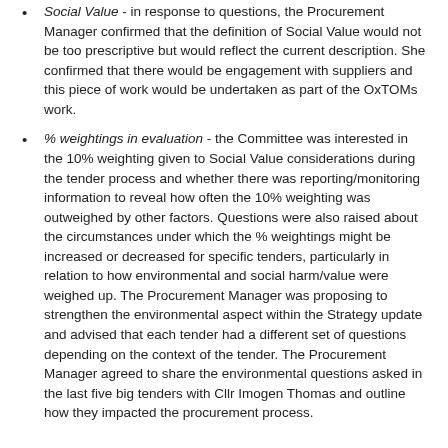Social Value - in response to questions, the Procurement Manager confirmed that the definition of Social Value would not be too prescriptive but would reflect the current description. She confirmed that there would be engagement with suppliers and this piece of work would be undertaken as part of the OxTOMs work.
% weightings in evaluation - the Committee was interested in the 10% weighting given to Social Value considerations during the tender process and whether there was reporting/monitoring information to reveal how often the 10% weighting was outweighed by other factors. Questions were also raised about the circumstances under which the % weightings might be increased or decreased for specific tenders, particularly in relation to how environmental and social harm/value were weighed up. The Procurement Manager was proposing to strengthen the environmental aspect within the Strategy update and advised that each tender had a different set of questions depending on the context of the tender. The Procurement Manager agreed to share the environmental questions asked in the last five big tenders with Cllr Imogen Thomas and outline how they impacted the procurement process.